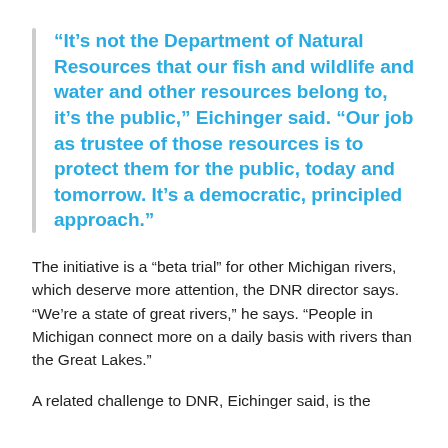“It’s not the Department of Natural Resources that our fish and wildlife and water and other resources belong to, it’s the public,” Eichinger said. “Our job as trustee of those resources is to protect them for the public, today and tomorrow. It’s a democratic, principled approach.”
The initiative is a “beta trial” for other Michigan rivers, which deserve more attention, the DNR director says. “We’re a state of great rivers,” he says. “People in Michigan connect more on a daily basis with rivers than the Great Lakes.”
A related challenge to DNR, Eichinger said, is the